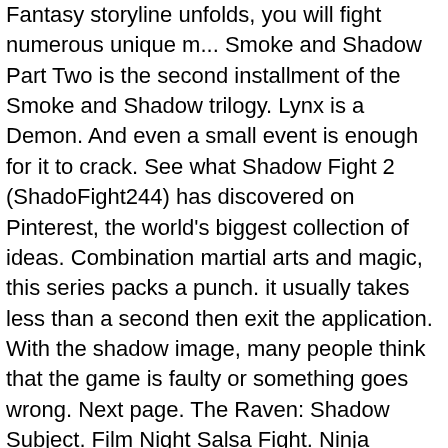Fantasy storyline unfolds, you will fight numerous unique m... Smoke and Shadow Part Two is the second installment of the Smoke and Shadow trilogy. Lynx is a Demon. And even a small event is enough for it to crack. See what Shadow Fight 2 (ShadoFight244) has discovered on Pinterest, the world's biggest collection of ideas. Combination martial arts and magic, this series packs a punch. it usually takes less than a second then exit the application. With the shadow image, many people think that the game is faulty or something goes wrong. Next page. The Raven: Shadow Subject. Film Night Salsa Fight. Ninja Shadow Fight 2 is special edition of " Ninja Shadow Fight ", it is the most real fighting game with the superb action fighting effect and the glorious combo hit. The biggest problem with this game is how it feels more like a more boring, money-grabbing version of Street Fighter because, while free, it includes excessive in-app purchases that everyone has grown to expect from the modern free-to-play games of today. His bodyguards are lesser members of the organisation. Shadow Fight 2 is designed by Nekki to create a different style of play. Sonic - Shadow The Hedgehog. 4. Storyline. A side-scroller fighting game. Fighting games are often...